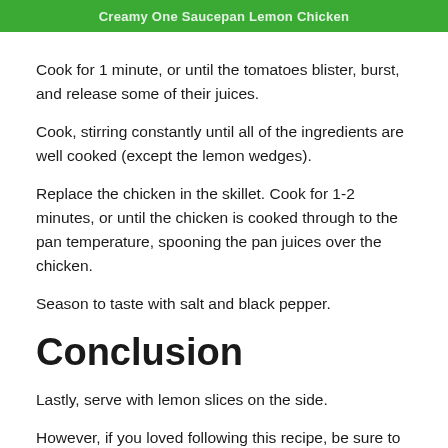Creamy One Saucepan Lemon Chicken
Cook for 1 minute, or until the tomatoes blister, burst, and release some of their juices.
Cook, stirring constantly until all of the ingredients are well cooked (except the lemon wedges).
Replace the chicken in the skillet. Cook for 1-2 minutes, or until the chicken is cooked through to the pan temperature, spooning the pan juices over the chicken.
Season to taste with salt and black pepper.
Conclusion
Lastly, serve with lemon slices on the side.
However, if you loved following this recipe, be sure to check out our Mediterranean salad recipe